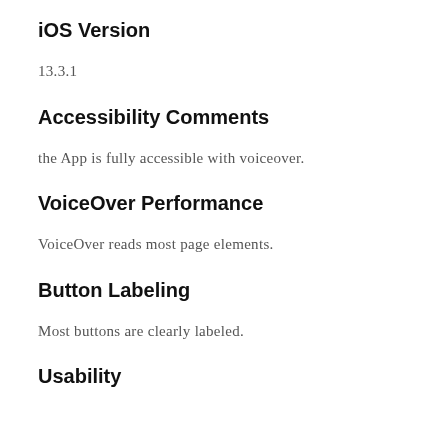iOS Version
13.3.1
Accessibility Comments
the App is fully accessible with voiceover.
VoiceOver Performance
VoiceOver reads most page elements.
Button Labeling
Most buttons are clearly labeled.
Usability